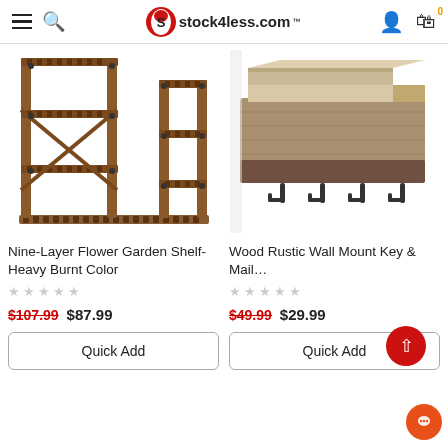stock4less.com
[Figure (photo): Nine-layer wooden flower garden shelf with heavy burnt color finish, multi-tier plant stand]
Nine-Layer Flower Garden Shelf-Heavy Burnt Color
★★★★★
$107.99  $87.99
Quick Add
[Figure (photo): Wood rustic wall mount key and mail organizer with hooks, barnwood finish]
Wood Rustic Wall Mount Key & Mail…
★★★★★
$49.99  $29.99
Quick Add